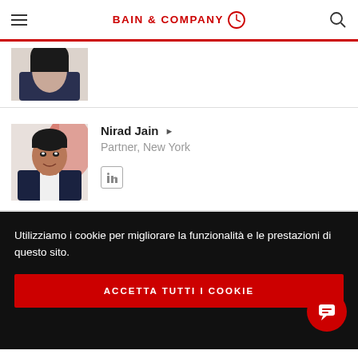BAIN & COMPANY
[Figure (photo): Partial photo of a woman with dark hair, cropped at top, in a dark blazer]
[Figure (photo): Photo of Nirad Jain, a man in a dark suit with white shirt, smiling]
Nirad Jain ▶
Partner, New York
Utilizziamo i cookie per migliorare la funzionalità e le prestazioni di questo sito.
ACCETTA TUTTI I COOKIE